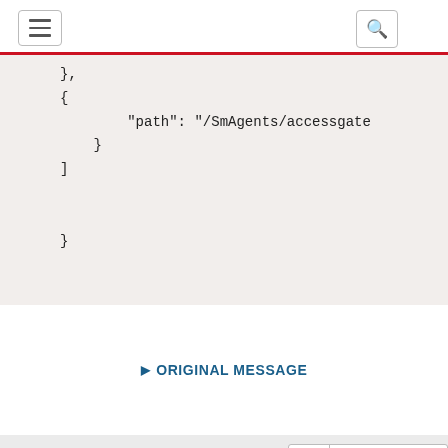[Figure (screenshot): Website navigation bar with hamburger menu icon on left and search icon on right, with red bottom border]
},
{
    "path": "/SmAgents/accessgate
}
]
▶ ORIGINAL MESSAGE
9.   0   Recommend
[Figure (photo): User avatar placeholder - grey oval/circle shape]